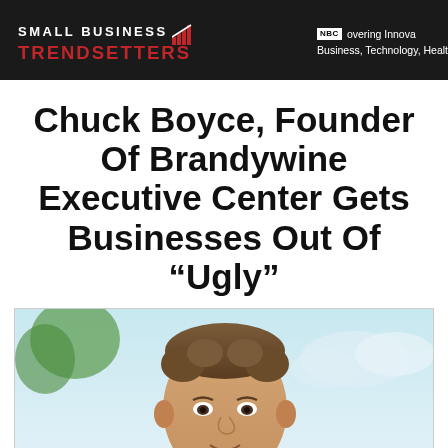SMALL BUSINESS TRENDSETTERS | Discovering Innovation in Business, Technology, Health
Chuck Boyce, Founder Of Brandywine Executive Center Gets Businesses Out Of “Ugly”
[Figure (photo): Headshot photo of Chuck Boyce, a man with short brown hair, photographed outdoors with a light blue sky background.]